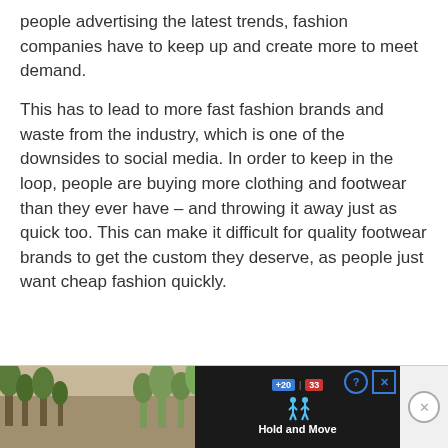people advertising the latest trends, fashion companies have to keep up and create more to meet demand.
This has to lead to more fast fashion brands and waste from the industry, which is one of the downsides to social media. In order to keep in the loop, people are buying more clothing and footwear than they ever have – and throwing it away just as quick too. This can make it difficult for quality footwear brands to get the custom they deserve, as people just want cheap fashion quickly.
[Figure (screenshot): Advertisement banner at the bottom of the page showing a 'Hold and Move' app/game advertisement with dark background, blue icons, score display, and nature/trees imagery on the sides. Includes close and help buttons.]